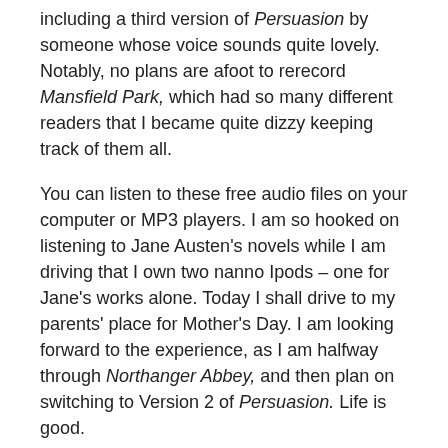including a third version of Persuasion by someone whose voice sounds quite lovely. Notably, no plans are afoot to rerecord Mansfield Park, which had so many different readers that I became quite dizzy keeping track of them all.
You can listen to these free audio files on your computer or MP3 players. I am so hooked on listening to Jane Austen's novels while I am driving that I own two nanno Ipods – one for Jane's works alone. Today I shall drive to my parents' place for Mother's Day. I am looking forward to the experience, as I am halfway through Northanger Abbey, and then plan on switching to Version 2 of Persuasion. Life is good.
Click here to view a listing of all Librivox's recordings of Jane Austen's novels.